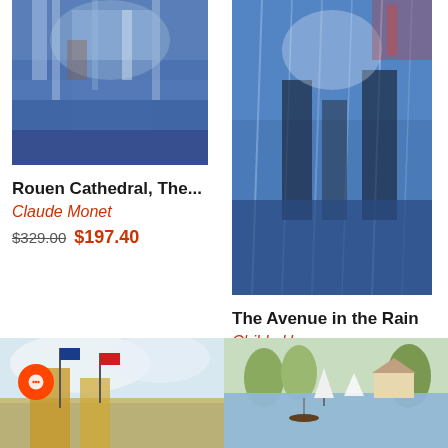[Figure (photo): Painting of Rouen Cathedral in blue tones by Claude Monet]
Rouen Cathedral, The...
Claude Monet
$329.00  $197.40
[Figure (photo): Painting of The Avenue in the Rain in blue tones by Childe Hassam]
The Avenue in the Rain
Childe Hassam
$349.00  $209.40
CUSTOMERS WHO BOUGHT THIS OIL PAINTING ALSO PURCHASED
[Figure (photo): Painting of a city scene with flags]
[Figure (photo): Painting of a river scene with sailboats]